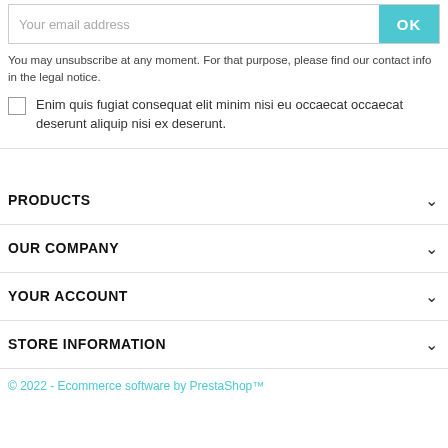Your email address
OK
You may unsubscribe at any moment. For that purpose, please find our contact info in the legal notice.
Enim quis fugiat consequat elit minim nisi eu occaecat occaecat deserunt aliquip nisi ex deserunt.
PRODUCTS
OUR COMPANY
YOUR ACCOUNT
STORE INFORMATION
© 2022 - Ecommerce software by PrestaShop™